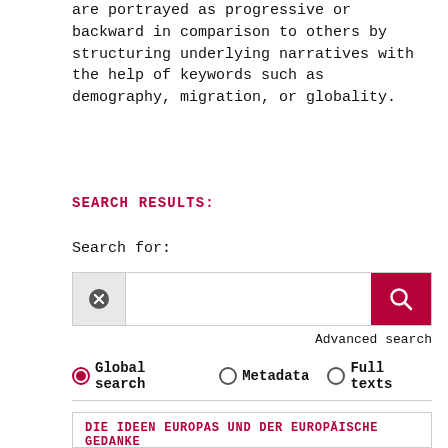are portrayed as progressive or backward in comparison to others by structuring underlying narratives with the help of keywords such as demography, migration, or globality.
SEARCH RESULTS:
Search for:
[Figure (screenshot): Search bar with cancel button (x), text input field, and red search button with magnifying glass icon]
Advanced search
⊙ Global search   ○ Metadata   ○ Full texts
DIE IDEEN EUROPAS UND DER EUROPÄISCHE GEDANKE
Source (1992)
German
Individualism , Philosophy , Science , Human Rights , Europe , Modern era